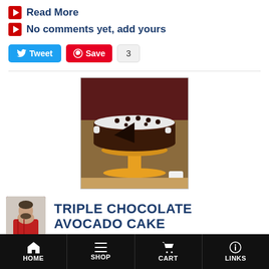Read More
No comments yet, add yours
[Figure (other): Social sharing bar with Tweet button (blue), Save/Pinterest button (red), and count badge showing 3]
[Figure (photo): Photo of a triple chocolate avocado cake with white frosting and chocolate chips on a yellow cake stand, with a slice removed]
[Figure (photo): Thumbnail photo of the recipe author, a man in a red flannel shirt]
TRIPLE CHOCOLATE AVOCADO CAKE
HOME  SHOP  CART  LINKS